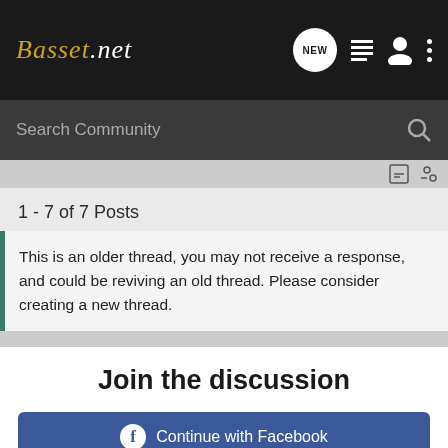Basset.net
Search Community
1 - 7 of 7 Posts
This is an older thread, you may not receive a response, and could be reviving an old thread. Please consider creating a new thread.
Join the discussion
Continue with Facebook